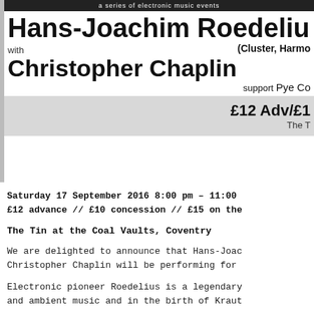a series of electronic music events
Hans-Joachim Roedeliu (Cluster, Harmo
with
Christopher Chaplin
support Pye Co
£12 Adv/£1
The T
Saturday 17 September 2016 8:00 pm – 11:00
£12 advance // £10 concession // £15 on the
The Tin at the Coal Vaults, Coventry
We are delighted to announce that Hans-Joac Christopher Chaplin will be performing for
Electronic pioneer Roedelius is a legendary and ambient music and in the birth of Kraut